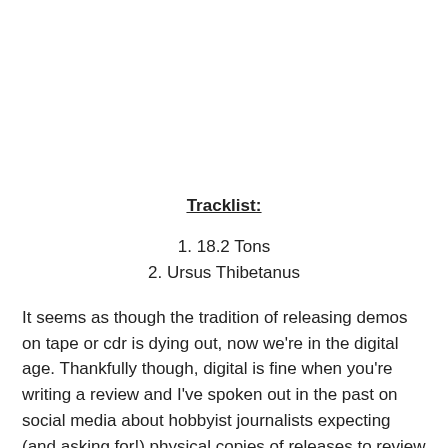Tracklist:
1. 18.2 Tons
2. Ursus Thibetanus
It seems as though the tradition of releasing demos on tape or cdr is dying out, now we're in the digital age. Thankfully though, digital is fine when you're writing a review and I've spoken out in the past on social media about hobbyist journalists expecting (and asking for!) physical copies of releases to review and the cost involved with that expectation. Sheffield's Kurokuma are a bit of a rarity, as the...